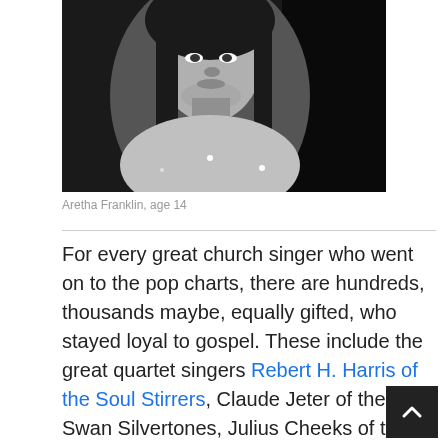[Figure (photo): Black and white portrait photograph of a young Aretha Franklin at age 14, shown from the shoulders up, looking upward.]
Aretha Franklin, age 14
For every great church singer who went on to the pop charts, there are hundreds, thousands maybe, equally gifted, who stayed loyal to gospel. These include the great quartet singers Rebert H. Harris of the Soul Stirrers, Claude Jeter of the Swan Silvertones, Julius Cheeks of the Sensational Nightingales, Archie Brownlee of the Five Blind Boys of Mississippi and Ira Tucker of the Dixie Hummingbirds. These guys made Little Richard sound like Chubby